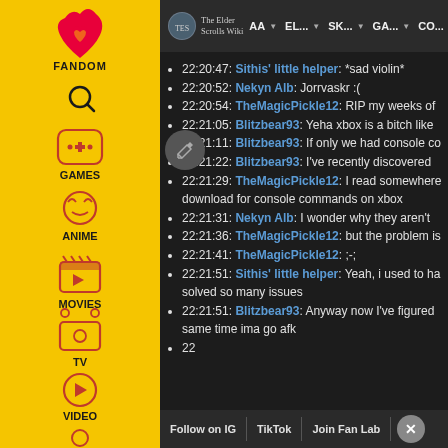[Figure (screenshot): Fandom website sidebar with yellow background showing navigation icons: Fandom logo (flame with heart), search, Games, Anime, Movies, TV, Video, and user profile icons in red/pink on yellow background]
The Elder Scrolls Wiki | AA | EL... | SK... | GA... | CO...
22:20:47: Sithis' little helper: *sad violin*
22:20:52: Nekyn Alb: Jorrvaskr :(
22:20:54: TheMagicPickle12: RIP my weeks of
22:21:05: Blitzbear93: Yeha xbox is a bitch like
22:21:11: Blitzbear93: If only we had console co
22:21:22: Blitzbear93: I've recently discovered
22:21:29: TheMagicPickle12: I read somewhere
download for console commands on xbox
22:21:31: Nekyn Alb: I wonder why they aren't
22:21:36: TheMagicPickle12: but the problem is
22:21:41: TheMagicPickle12: ;-;
22:21:51: Sithis' little helper: Yeah, i used to ha
solved so many issues
22:21:51: Blitzbear93: Anyway now I've figured
same time ima go afk
22
Follow on IG | TikTok | Join Fan Lab | X